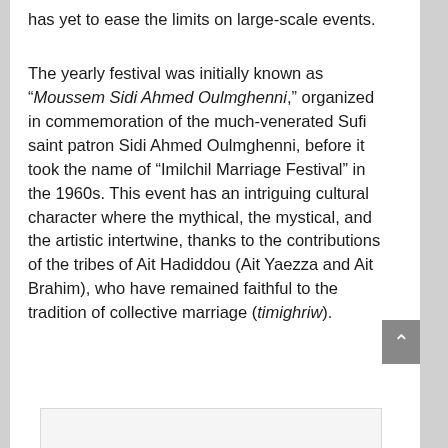has yet to ease the limits on large-scale events.
The yearly festival was initially known as “Moussem Sidi Ahmed Oulmghenni,” organized in commemoration of the much-venerated Sufi saint patron Sidi Ahmed Oulmghenni, before it took the name of “Imilchil Marriage Festival” in the 1960s. This event has an intriguing cultural character where the mythical, the mystical, and the artistic intertwine, thanks to the contributions of the tribes of Ait Hadiddou (Ait Yaezza and Ait Brahim), who have remained faithful to the tradition of collective marriage (timighriw).
[Figure (other): Partial image placeholder at bottom of page]